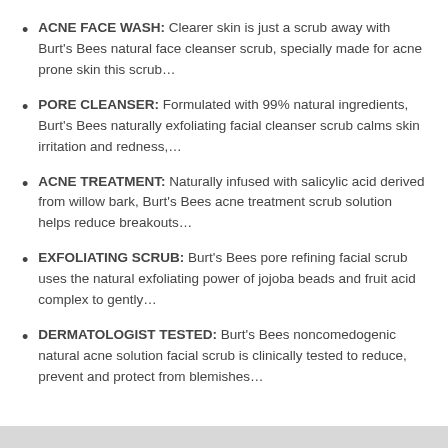ACNE FACE WASH: Clearer skin is just a scrub away with Burt's Bees natural face cleanser scrub, specially made for acne prone skin this scrub…
PORE CLEANSER: Formulated with 99% natural ingredients, Burt's Bees naturally exfoliating facial cleanser scrub calms skin irritation and redness,…
ACNE TREATMENT: Naturally infused with salicylic acid derived from willow bark, Burt's Bees acne treatment scrub solution helps reduce breakouts…
EXFOLIATING SCRUB: Burt's Bees pore refining facial scrub uses the natural exfoliating power of jojoba beads and fruit acid complex to gently…
DERMATOLOGIST TESTED: Burt's Bees noncomedogenic natural acne solution facial scrub is clinically tested to reduce, prevent and protect from blemishes…